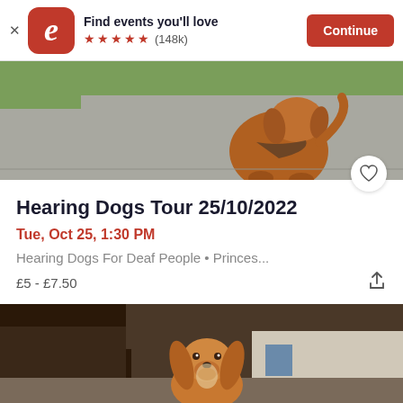[Figure (screenshot): Eventbrite app banner with logo, 'Find events you'll love' text, 5-star rating (148k reviews), and Continue button]
[Figure (photo): A golden/brown dog sitting on a road outdoors, viewed from behind/side angle]
Hearing Dogs Tour 25/10/2022
Tue, Oct 25, 1:30 PM
Hearing Dogs For Deaf People • Princes...
£5 - £7.50
[Figure (photo): A golden/brown cocker spaniel dog looking up, with a building in the background]